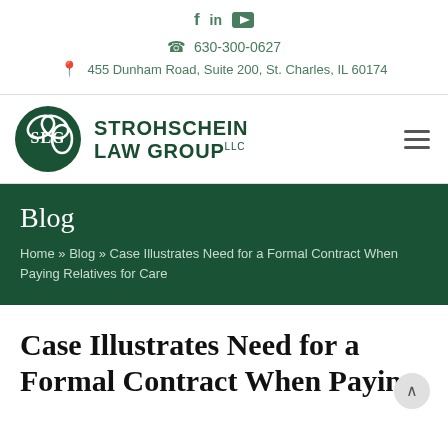f in ▶  630-300-0627  455 Dunham Road, Suite 200, St. Charles, IL 60174
[Figure (logo): Strohschein Law Group LLC logo — circular green emblem with stylized letters, and firm name in dark green bold uppercase text]
Blog
Home » Blog » Case Illustrates Need for a Formal Contract When Paying Relatives for Care
Case Illustrates Need for a Formal Contract When Paying